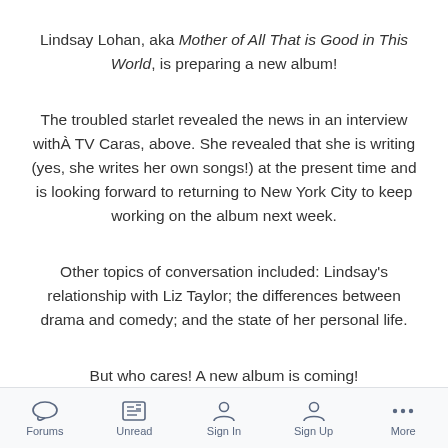Lindsay Lohan, aka Mother of All That is Good in This World, is preparing a new album!
The troubled starlet revealed the news in an interview withÂ TV Caras, above. She revealed that she is writing (yes, she writes her own songs!) at the present time and is looking forward to returning to New York City to keep working on the album next week.
Other topics of conversation included: Lindsay's relationship with Liz Taylor; the differences between drama and comedy; and the state of her personal life.
But who cares! A new album is coming!
Forums  Unread  Sign In  Sign Up  More